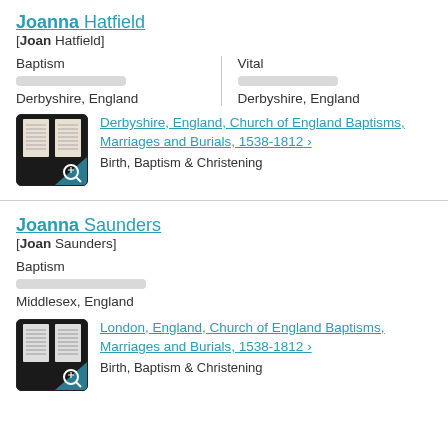Joanna Hatfield
[Joan Hatfield]
Baptism
Derbyshire, England
Vital
Derbyshire, England
[Figure (other): Thumbnail of a church register document page]
Derbyshire, England, Church of England Baptisms, Marriages and Burials, 1538-1812 >
Birth, Baptism & Christening
Joanna Saunders
[Joan Saunders]
Baptism
Middlesex, England
[Figure (other): Thumbnail of a church register document page]
London, England, Church of England Baptisms, Marriages and Burials, 1538-1812 >
Birth, Baptism & Christening